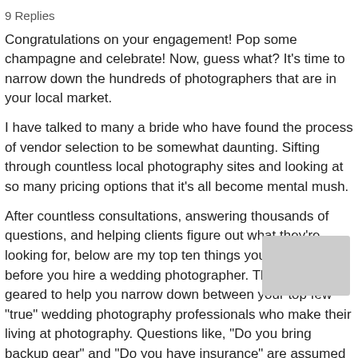9 Replies
Congratulations on your engagement! Pop some champagne and celebrate! Now, guess what? It’s time to narrow down the hundreds of photographers that are in your local market.
I have talked to many a bride who have found the process of vendor selection to be somewhat daunting. Sifting through countless local photography sites and looking at so many pricing options that it’s all become mental mush.
After countless consultations, answering thousands of questions, and helping clients figure out what they’re looking for, below are my top ten things you should know before you hire a wedding photographer. This list is geared to help you narrow down between your top few “true” wedding photography professionals who make their living at photography. Questions like, “Do you bring backup gear” and “Do you have insurance” are assumed to have already
[Figure (photo): Gray placeholder image block overlapping the last paragraph text]